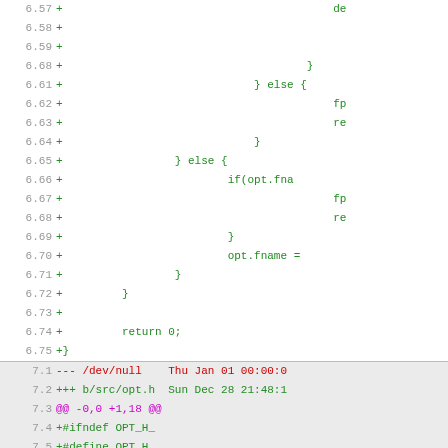Code diff view showing lines 6.57-6.75 and 7.1-7.13 of a C source file patch
[Figure (screenshot): Unified diff output showing two sections: lines 6.57-6.75 with green added code including braces, else blocks, if(opt.fname, fp, return, opt.fname =, and return 0; +}; and lines 7.1-7.13 with red/green/magenta diff headers and green added lines including #ifndef OPT_H_, #define OPT_H_, enum RendererType { REND_NONE, REND_FAST }, +};, struct Options {, char *fname;]